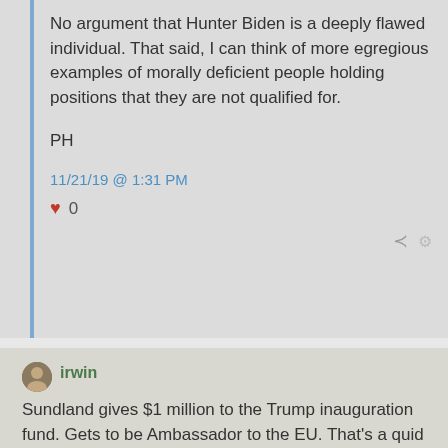No argument that Hunter Biden is a deeply flawed individual.  That said, I can think of more egregious examples of morally deficient people holding positions that they are not qualified for.
PH
11/21/19 @ 1:31 PM
❤ 0
irwin
Sundland gives $1 million to the Trump inauguration fund. Gets to be Ambassador to the EU. That's a quid pro quo.

I'd like to be ambassador to France. I wonder what